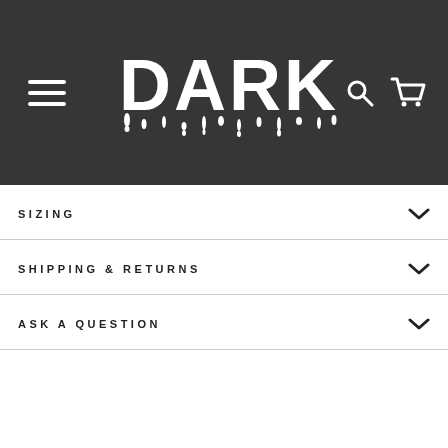[Figure (logo): DARKO brand logo with dripping grunge font on dark header bar, with hamburger menu icon on left and search/cart icons on right]
SIZING
SHIPPING & RETURNS
ASK A QUESTION